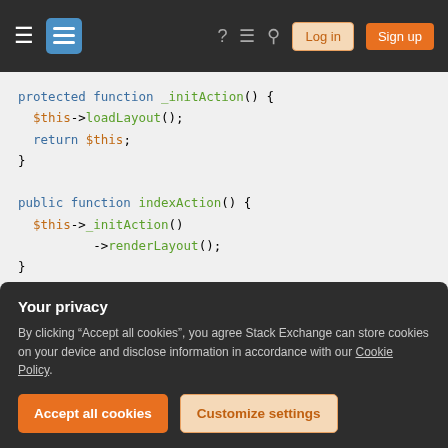Stack Exchange navigation bar with hamburger menu, logo, help, chat, search icons, Log in and Sign up buttons
[Figure (screenshot): PHP code snippet showing protected function _initAction(), public function indexAction(), and public function exportCsvAction() on a light gray background]
Your privacy
By clicking "Accept all cookies", you agree Stack Exchange can store cookies on your device and disclose information in accordance with our Cookie Policy.
Accept all cookies
Customize settings